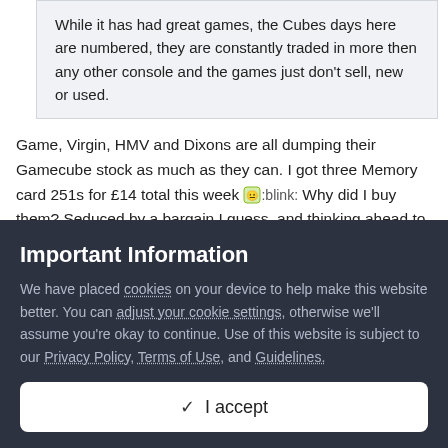While it has had great games, the Cubes days here are numbered, they are constantly traded in more then any other console and the games just don't sell, new or used.
Game, Virgin, HMV and Dixons are all dumping their Gamecube stock as much as they can. I got three Memory card 251s for £14 total this week :blink: Why did I buy them? Seduced by a bargain I guess, and thinking ahead to when I have AC, AC2, Pikmin 2 and Paper Mario 2 savegames all going at the same time :blink:
Important Information
We have placed cookies on your device to help make this website better. You can adjust your cookie settings, otherwise we'll assume you're okay to continue. Use of this website is subject to our Privacy Policy, Terms of Use, and Guidelines.
✓ I accept